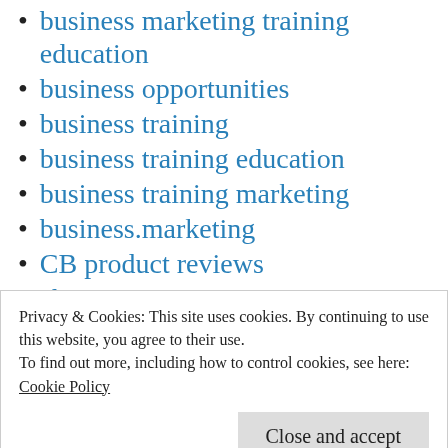business marketing training education
business opportunities
business training
business training education
business training marketing
business.marketing
CB product reviews
cb reviews
clickbank
Clickbank eBook Super Money Funnel
coaching
Privacy & Cookies: This site uses cookies. By continuing to use this website, you agree to their use.
To find out more, including how to control cookies, see here: Cookie Policy
Dr. Jeffre... Last Article...